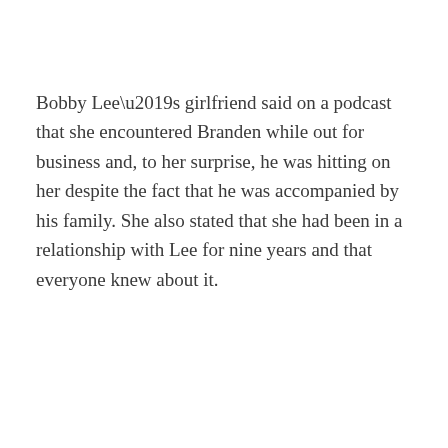Bobby Lee's girlfriend said on a podcast that she encountered Branden while out for business and, to her surprise, he was hitting on her despite the fact that he was accompanied by his family. She also stated that she had been in a relationship with Lee for nine years and that everyone knew about it.